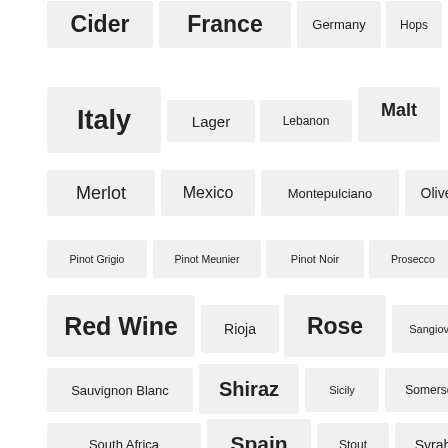[Figure (infographic): Tag cloud of beverage and wine-related terms with varying font sizes indicating frequency/importance. Tags include: Cider, France, Germany, Hops, Italy, Lager, Lebanon, London, Malt, Merlot, Mexico, Montepulciano, Olives, Pinot Grigio, Pinot Meunier, Pinot Noir, Prosecco, Red Wine, Rioja, Rose, Sangiovese, Sauvignon Blanc, Shiraz, Sicily, Somerset, South Africa, Spain, Stout, Syrah, Tempranillo, United Kingdom, USA, Valdepenas, White Wine]